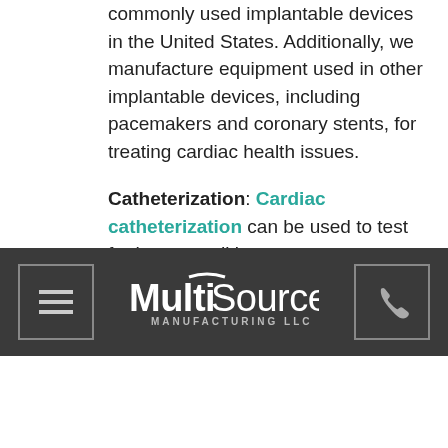commonly used implantable devices in the United States. Additionally, we manufacture equipment used in other implantable devices, including pacemakers and coronary stents, for treating cardiac health issues.
Catheterization: Cardiac catheterization can be used to test for heart conditions or treat an existing condition. The long, thin tubing ... when that flow would otherwise be unreliable. We manufacture several components used in cardiac and other catheterization systems.
[Figure (logo): MultiSource Manufacturing LLC navigation bar with hamburger menu icon on left, logo in center, and phone icon on right, on dark gray background]
Surgical Navigation: In many surgical operations, including almost all cardiac and